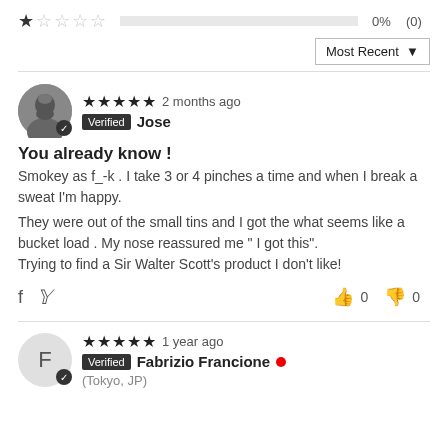[Figure (infographic): 1-star rating row with empty bar, 0%, (0)]
[Figure (infographic): Most Recent dropdown sort selector]
[Figure (infographic): Review by Jose: 5 stars, 2 months ago, Verified, with review text and social/vote actions]
[Figure (infographic): Review by Fabrizio Francione: 5 stars, 1 year ago, Verified, with Tokyo JP location]